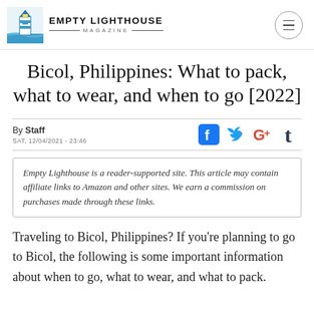EMPTY LIGHTHOUSE MAGAZINE
Bicol, Philippines: What to pack, what to wear, and when to go [2022]
By Staff
SAT, 12/04/2021 - 23:46
Empty Lighthouse is a reader-supported site. This article may contain affiliate links to Amazon and other sites. We earn a commission on purchases made through these links.
Traveling to Bicol, Philippines? If you're planning to go to Bicol, the following is some important information about when to go, what to wear, and what to pack.